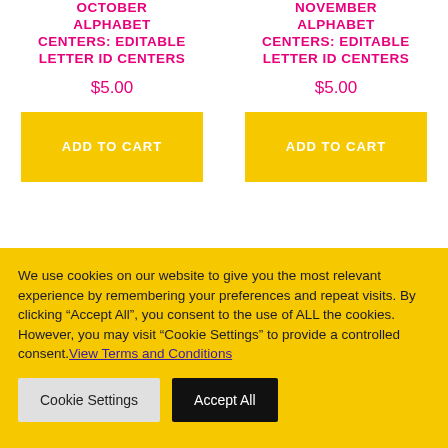OCTOBER ALPHABET CENTERS: EDITABLE LETTER ID CENTERS
$5.00
NOVEMBER ALPHABET CENTERS: EDITABLE LETTER ID CENTERS
$5.00
We use cookies on our website to give you the most relevant experience by remembering your preferences and repeat visits. By clicking “Accept All”, you consent to the use of ALL the cookies. However, you may visit “Cookie Settings” to provide a controlled consent. View Terms and Conditions
Cookie Settings
Accept All